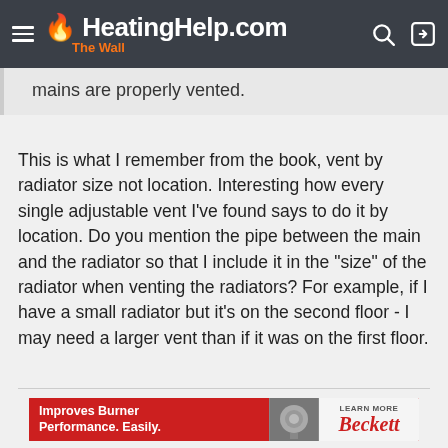HeatingHelp.com The Wall
mains are properly vented.
This is what I remember from the book, vent by radiator size not location. Interesting how every single adjustable vent I've found says to do it by location. Do you mention the pipe between the main and the radiator so that I include it in the "size" of the radiator when venting the radiators? For example, if I have a small radiator but it's on the second floor - I may need a larger vent than if it was on the first floor.
[Figure (other): Beckett advertisement banner: 'Improves Burner Performance. Easily.' with burner image and Beckett logo]